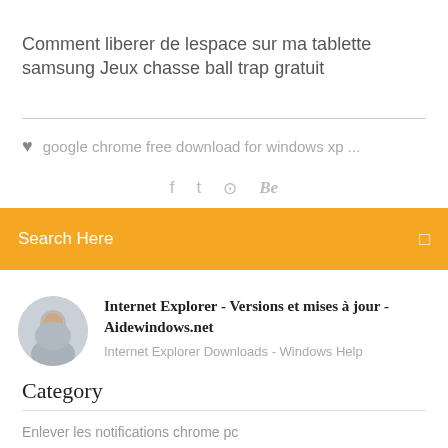Comment liberer de lespace sur ma tablette samsung Jeux chasse ball trap gratuit
google chrome free download for windows xp ...
[Figure (other): Social media icons: Facebook, Twitter, globe/settings, Behance]
Search Here
Internet Explorer - Versions et mises à jour - Aidewindows.net
Internet Explorer Downloads - Windows Help
Category
Enlever les notifications chrome pc